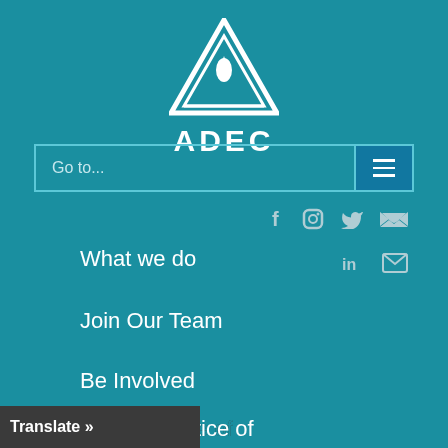[Figure (logo): ADEC logo: white triangle with flame icon above text 'ADEC']
ADEC
Go to...
[Figure (infographic): Social media icons: Facebook, Instagram, Twitter, another social icon, LinkedIn, Email]
What we do
Join Our Team
Be Involved
Blog
URAA Notice of
Translate »